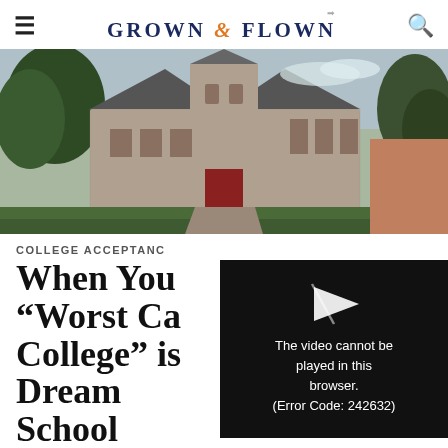GROWN & FLOWN
[Figure (photo): Exterior of a stone Gothic Revival college building with trees, red door, and tower.]
COLLEGE ACCEPTANCE
When Your “Worst Case College” is Your Dream School
[Figure (screenshot): Video error overlay: play icon with message 'The video cannot be played in this browser. (Error Code: 242632)']
by Max Zeff | March 4, 2022